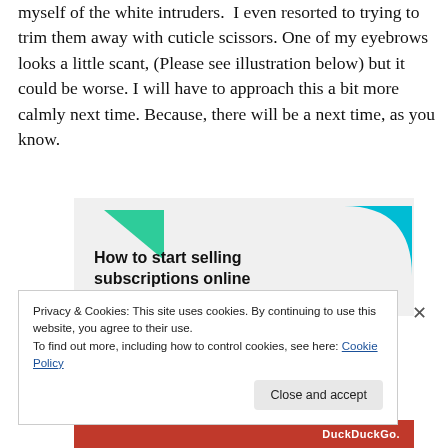myself of the white intruders.  I even resorted to trying to trim them away with cuticle scissors. One of my eyebrows looks a little scant, (Please see illustration below) but it could be worse. I will have to approach this a bit more calmly next time. Because, there will be a next time, as you know.
[Figure (illustration): Advertisement banner with light gray background, a green triangular shape top-left and a blue quarter-circle shape top-right, with bold text 'How to start selling subscriptions online']
Privacy & Cookies: This site uses cookies. By continuing to use this website, you agree to their use.
To find out more, including how to control cookies, see here: Cookie Policy
Close and accept
DuckDuckGo.